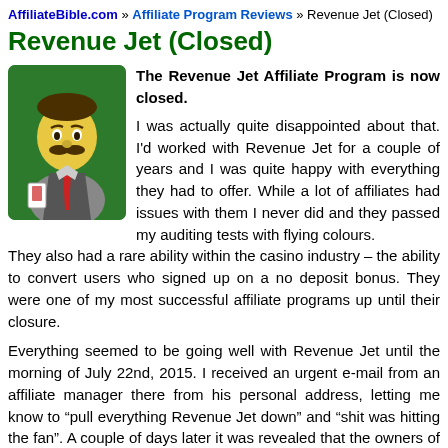AffiliateBible.com » Affiliate Program Reviews » Revenue Jet (Closed)
Revenue Jet (Closed)
[Figure (illustration): Cartoon illustration of a mustachioed casino dealer character wearing a vest and red tie, on a green rounded background]
The Revenue Jet Affiliate Program is now closed.

I was actually quite disappointed about that. I'd worked with Revenue Jet for a couple of years and I was quite happy with everything they had to offer. While a lot of affiliates had issues with them I never did and they passed my auditing tests with flying colours. They also had a rare ability within the casino industry – the ability to convert users who signed up on a no deposit bonus. They were one of my most successful affiliate programs up until their closure.
Everything seemed to be going well with Revenue Jet until the morning of July 22nd, 2015. I received an urgent e-mail from an affiliate manager there from his personal address, letting me know to “pull everything Revenue Jet down” and “shit was hitting the fan”. A couple of days later it was revealed that the owners of Revenue Jet and Affactive, Gary Shalon and Ziv Orenstein, were arrested. From what I was told the Revenue Jet offices were “raided” soon after that.